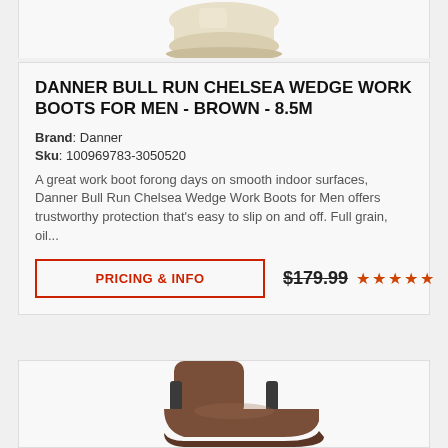[Figure (photo): Partial view of a light tan/cream colored boot at the top of the page, cropped]
DANNER BULL RUN CHELSEA WEDGE WORK BOOTS FOR MEN - BROWN - 8.5M
Brand: Danner
Sku: 100969783-3050520
A great work boot forong days on smooth indoor surfaces, Danner Bull Run Chelsea Wedge Work Boots for Men offers trustworthy protection that&#39;s easy to slip on and off. Full grain, oil...
PRICING & INFO   $179.99  ★★★★★
[Figure (photo): Brown chelsea boot shown from a side/front angle, partially visible at the bottom of the page]